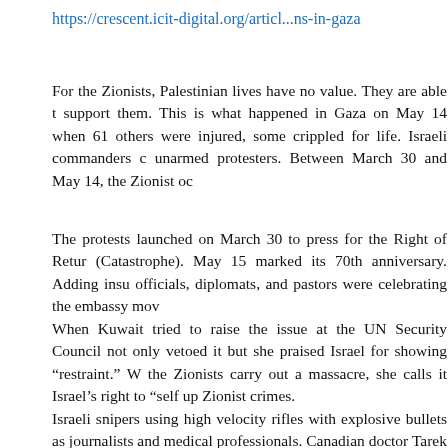https://crescent.icit-digital.org/articl...ns-in-gaza
For the Zionists, Palestinian lives have no value. They are able to support them. This is what happened in Gaza on May 14 when 61 others were injured, some crippled for life. Israeli commanders c unarmed protesters. Between March 30 and May 14, the Zionist oc
The protests launched on March 30 to press for the Right of Retur (Catastrophe). May 15 marked its 70th anniversary. Adding insu officials, diplomats, and pastors were celebrating the embassy mo
When Kuwait tried to raise the issue at the UN Security Council not only vetoed it but she praised Israel for showing “restraint.” W the Zionists carry out a massacre, she calls it Israel’s right to “self up Zionist crimes. Israeli snipers using high velocity rifles with explosive bullets as journalists and medical professionals. Canadian doctor Tarek L Palestinians were busy burying their dead or caring for the injured